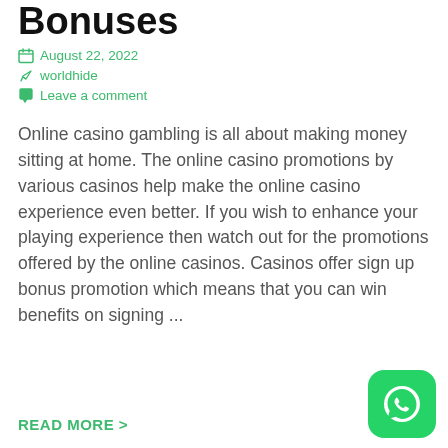Bonuses
August 22, 2022
worldhide
Leave a comment
Online casino gambling is all about making money sitting at home. The online casino promotions by various casinos help make the online casino experience even better. If you wish to enhance your playing experience then watch out for the promotions offered by the online casinos. Casinos offer sign up bonus promotion which means that you can win benefits on signing ...
READ MORE >